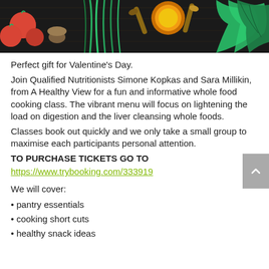[Figure (photo): Dark background with vegetables and spices: tomatoes, leafy greens, wooden spoons with turmeric and other spices, herbs]
Perfect gift for Valentine's Day.
Join Qualified Nutritionists Simone Kopkas and Sara Millikin, from A Healthy View for a fun and informative whole food cooking class. The vibrant menu will focus on lightening the load on digestion and the liver cleansing whole foods.
Classes book out quickly and we only take a small group to maximise each participants personal attention.
TO PURCHASE TICKETS GO TO
https://www.trybooking.com/333919
We will cover:
pantry essentials
cooking short cuts
healthy snack ideas